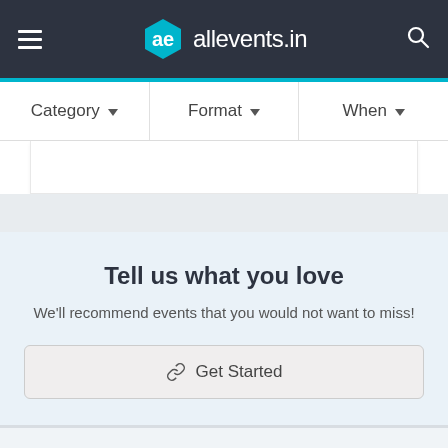ae allevents.in
Category ▾   Format ▾   When ▾
Tell us what you love
We'll recommend events that you would not want to miss!
🔗 Get Started
Best of Philadelphia Trips & Adventurous